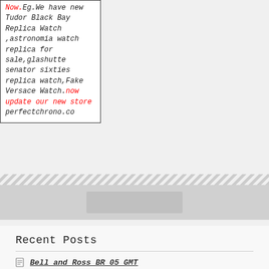Now.Eg.We have new Tudor Black Bay Replica Watch ,astronomia watch replica for sale,glashutte senator sixties replica watch,Fake Versace Watch.now update our new store perfectchrono.co
[Figure (other): Zigzag decorative border bar and gray band with lighter gray rectangle, used as a visual section divider on the webpage]
Recent Posts
Bell and Ross BR 05 GMT
Jacob & Co Epic X